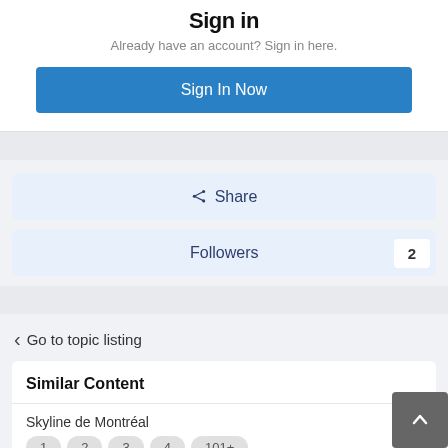Sign in
Already have an account? Sign in here.
Sign In Now
Share
Followers 2
Go to topic listing
Similar Content
Skyline de Montréal
1  2  3  4  101+